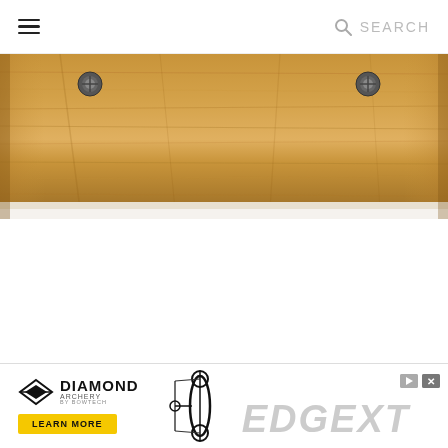Menu | SEARCH
[Figure (photo): Close-up photo of a wooden bow limb or riser with metal screws/bolts visible, warm honey-brown wood grain, partial white background at bottom edge]
[Figure (infographic): Diamond Archery by Bowtech advertisement banner featuring Diamond Archery logo with diamond shape icon, LEARN MORE yellow button, compound bow silhouette, and EDGE XT text in large gray letters]